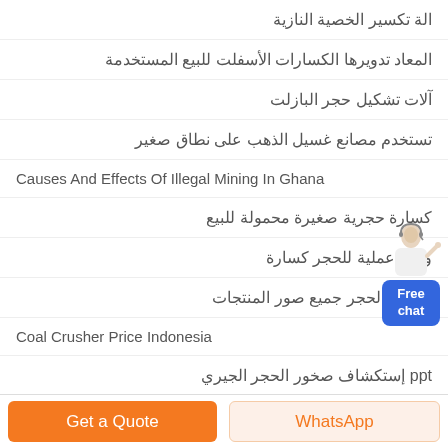الة تكسير الخصية النازية
المعاد تدويرها الكسارات الأسفلت للبيع المستخدمة
آلات تشكيل حجر البازلت
تستخدم مصانع غسيل الذهب على نطاق صغير
Causes And Effects Of Illegal Mining In Ghana
كسارة حجرية صغيرة محمولة للبيع
ورقة عملية للحجر كسارة
كسارة الحجر جميع صور المنتجات
Coal Crusher Price Indonesia
ppt إستكشاف صخور الحجر الجيري
[Figure (illustration): Customer service representative figure with Free chat button widget on the right side]
Get a Quote
WhatsApp